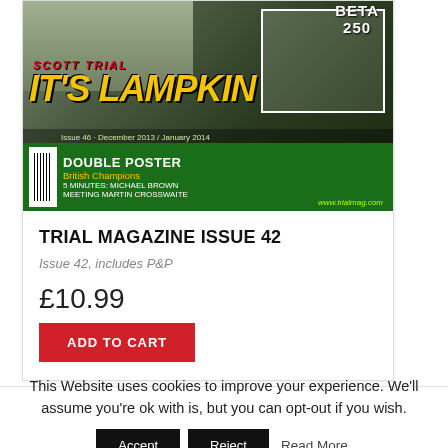[Figure (photo): Magazine cover of Trial Magazine Issue 42 showing motorbike trials riders, with bold yellow text IT'S LAMPKIN, red SCOTT TRIAL text, BETA 250 in top right, green strip at bottom with DOUBLE POSTER British Champions text, barcode, and website www.trialmag.com]
TRIAL MAGAZINE ISSUE 42
Issue 42, includes P&P
£10.99
ADD TO CART
This Website uses cookies to improve your experience. We'll assume you're ok with is, but you can opt-out if you wish.
Accept
Reject
Read More